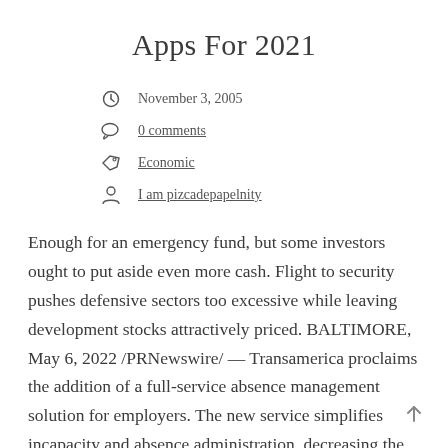Apps For 2021
November 3, 2005
0 comments
Economic
I am pizcadepapelnity
Enough for an emergency fund, but some investors ought to put aside even more cash. Flight to security pushes defensive sectors too excessive while leaving development stocks attractively priced. BALTIMORE, May 6, 2022 /PRNewswire/ — Transamerica proclaims the addition of a full-service absence management solution for employers. The new service simplifies incapacity and absence administration, decreasing the